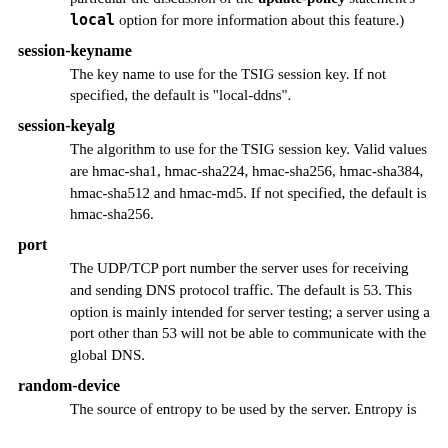particular the discussion of the update-policy statement's local option for more information about this feature.)
session-keyname
The key name to use for the TSIG session key. If not specified, the default is "local-ddns".
session-keyalg
The algorithm to use for the TSIG session key. Valid values are hmac-sha1, hmac-sha224, hmac-sha256, hmac-sha384, hmac-sha512 and hmac-md5. If not specified, the default is hmac-sha256.
port
The UDP/TCP port number the server uses for receiving and sending DNS protocol traffic. The default is 53. This option is mainly intended for server testing; a server using a port other than 53 will not be able to communicate with the global DNS.
random-device
The source of entropy to be used by the server. Entropy is